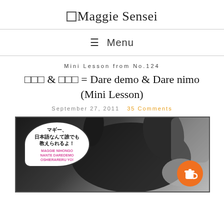Maggie Sensei
≡ Menu
Mini Lesson from No.124
□□□ & □□□ = Dare demo & Dare nimo (Mini Lesson)
September 27, 2011   35 Comments
[Figure (photo): A photo of a dog (Maggie Sensei mascot) with a speech bubble in Japanese reading マギー、日本語なんて誰でも教えられるよ！ with romanization MAGGIE NIHONGO NANTE DAREDEMO OSHIERARERU YO! and an orange coffee cup button in the bottom right corner.]